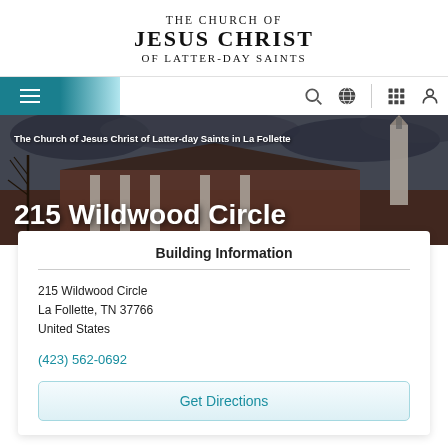[Figure (logo): The Church of Jesus Christ of Latter-day Saints logo text]
[Figure (screenshot): Navigation bar with hamburger menu, search, globe, apps grid, and user icons]
[Figure (photo): Photograph of a Church of Jesus Christ of Latter-day Saints building in La Follette with hero text overlay]
215 Wildwood Circle
Building Information
215 Wildwood Circle
La Follette, TN 37766
United States
(423) 562-0692
Get Directions